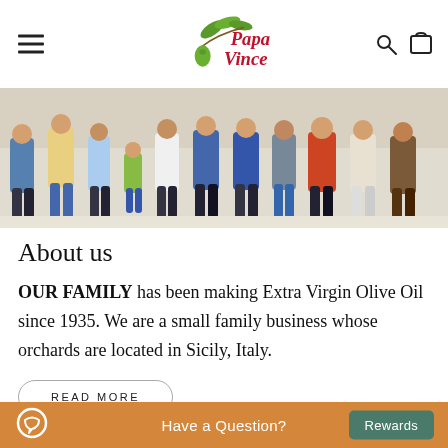Papa Vince — navigation header with hamburger menu, logo, search and cart icons
[Figure (photo): A group of people (family) crouching down together in a row, photographed from the waist/knees down, showing legs, shoes and casual clothing against a light background.]
About us
OUR FAMILY has been making Extra Virgin Olive Oil since 1935. We are a small family business whose orchards are located in Sicily, Italy.
READ MORE
Have a Question?  Rewards